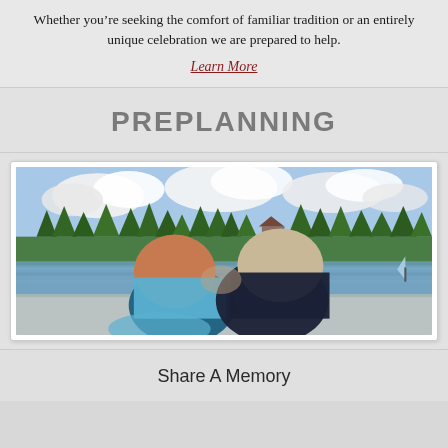Whether you’re seeking the comfort of familiar tradition or an entirely unique celebration we are prepared to help.
Learn More
PREPLANNING
[Figure (photo): Two people sitting together, viewed from behind, looking out over a lake with trees and clouds in the background. One person rests their head on the other's shoulder.]
Share A Memory